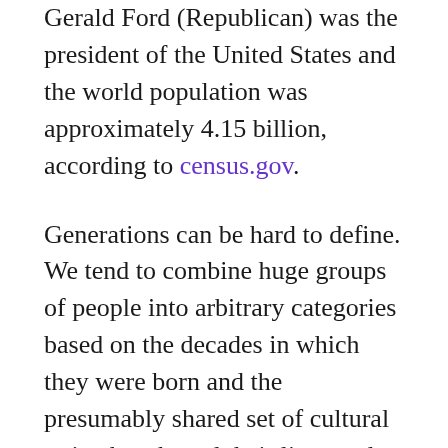Gerald Ford (Republican) was the president of the United States and the world population was approximately 4.15 billion, according to census.gov.
Generations can be hard to define. We tend to combine huge groups of people into arbitrary categories based on the decades in which they were born and the presumably shared set of cultural traits that shaped their lives and experiences.
The 1970s are famous for economic struggle, cultural change and technological innovation. Marginalized groups fought for equality.